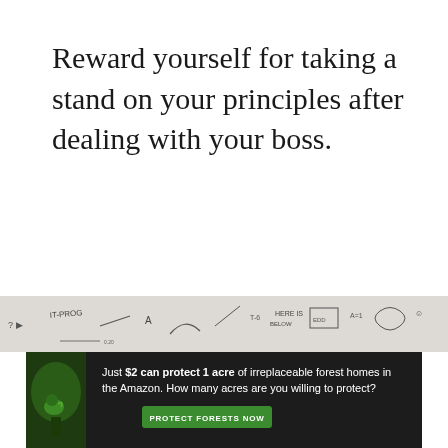Reward yourself for taking a stand on your principles after dealing with your boss.
[Figure (photo): Whiteboard with handwritten text and drawings, partially visible at the bottom of the page]
[Figure (infographic): Advertisement banner: 'Just $2 can protect 1 acre of irreplaceable forest homes in the Amazon. How many acres are you willing to protect?' with a green 'PROTECT FORESTS NOW' button and a forest/nature image on the left]